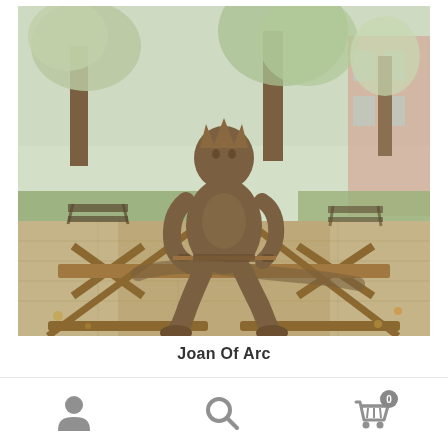[Figure (photo): Bronze sculpture of a child figure (Joan of Arc) sitting on a wooden bench/sawhorse in an outdoor plaza setting. Trees, grass, a park bench, and a brick building are visible in the background. Autumn scene with fallen leaves.]
Joan Of Arc
$6,300.00 – $58,500.00
Navigation bar with person/account icon, search icon, and shopping cart icon with badge showing 0